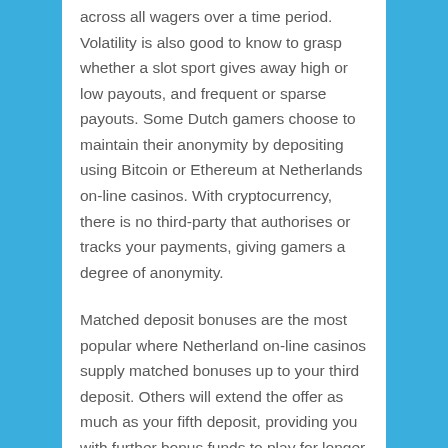across all wagers over a time period. Volatility is also good to know to grasp whether a slot sport gives away high or low payouts, and frequent or sparse payouts. Some Dutch gamers choose to maintain their anonymity by depositing using Bitcoin or Ethereum at Netherlands on-line casinos. With cryptocurrency, there is no third-party that authorises or tracks your payments, giving gamers a degree of anonymity.
Matched deposit bonuses are the most popular where Netherland on-line casinos supply matched bonuses up to your third deposit. Others will extend the offer as much as your fifth deposit, providing you with further bonus funds to play for longer and test the on line casino. PartyCasino, an official